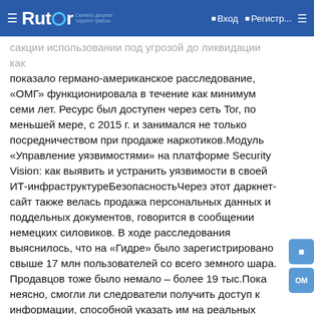Rutor | Вход | Регистр...
сакции использовании под угрозой до ликвидации как показало германо-американское расследование, «ОМГ» функционировала в течение как минимум семи лет. Ресурс был доступен через сеть Tor, по меньшей мере, с 2015 г. и занимался не только посредничеством при продаже наркотиков.Модуль «Управление уязвимостями» на платформе Security Vision: как выявить и устранить уязвимости в своей ИТ-инфраструктуреБезопасностьЧерез этот даркнет-сайт также велась продажа персональных данных и поддельных документов, говорится в сообщении немецких силовиков. В ходе расследования выяснилось, что на «Гидре» было зарегистрировано свыше 17 млн пользователей со всего земного шара. Продавцов тоже было немало – более 19 тыс.Пока неясно, смогли ли следователи получить доступ к информации, способной указать им на реальных владельцев пользовательских профилей на «Гидре».Из даркнета уходят крупнейшие игрокиЗакрытие «Гидры» стало третьим ощутимым ударом по даркнету с начала 2022 г. «Темная сторона» всемирной Паутины постепенно лишается действительно крупных